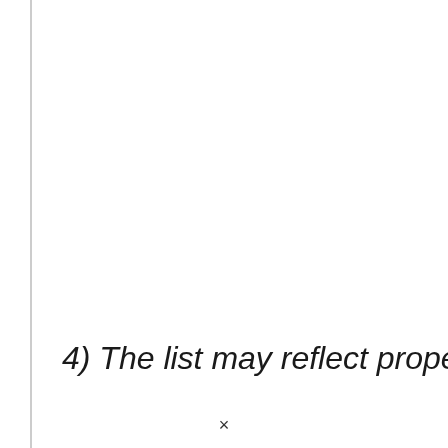[Figure (other): Green share button with plus icon and SHARE label]
4) The list may reflect properties
×